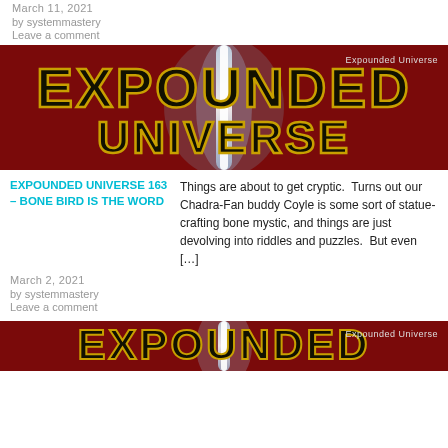March 11, 2021
by systemmastery
Leave a comment
[Figure (illustration): Expounded Universe banner image with large stylized text 'EXPOUNDED UNIVERSE' in gold outlined letters on dark red background with lightsaber beam effect. 'Expounded Universe' label in top right corner.]
EXPOUNDED UNIVERSE 163 – BONE BIRD IS THE WORD
Things are about to get cryptic.  Turns out our Chadra-Fan buddy Coyle is some sort of statue-crafting bone mystic, and things are just devolving into riddles and puzzles.  But even […]
March 2, 2021
by systemmastery
Leave a comment
[Figure (illustration): Partial Expounded Universe banner image, same style as above, cropped at bottom of page.]